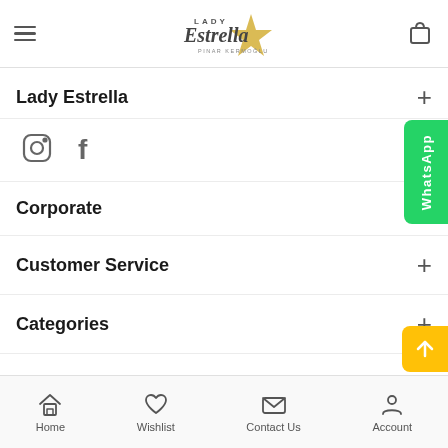Lady Estrella (logo/header with hamburger menu and shopping bag icon)
Lady Estrella
[Figure (illustration): Instagram and Facebook social media icons]
Corporate
Customer Service
Categories
[Figure (illustration): WhatsApp vertical button on right side]
[Figure (illustration): Yellow scroll-to-top arrow button]
Home  Wishlist  Contact Us  Account